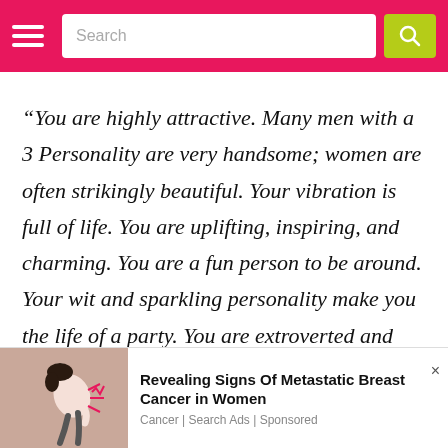Search
“You are highly attractive. Many men with a 3 Personality are very handsome; women are often strikingly beautiful. Your vibration is full of life. You are uplifting, inspiring, and charming. You are a fun person to be around. Your wit and sparkling personality make you the life of a party. You are extroverted and optimistic. You
[Figure (illustration): Illustration of a woman hunched over in pain, with pink lightning bolt lines near her back on a mauve/brown background]
Revealing Signs Of Metastatic Breast Cancer in Women
Cancer | Search Ads | Sponsored